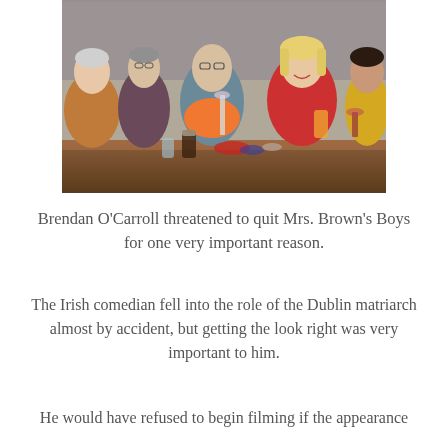[Figure (photo): Group of people sitting around a bar table, laughing and holding drinks. A person in the center wears an orange scarf and holds a wine glass. Others wear red, yellow, and brown clothing.]
Brendan O'Carroll threatened to quit Mrs. Brown's Boys for one very important reason.
The Irish comedian fell into the role of the Dublin matriarch almost by accident, but getting the look right was very important to him.
He would have refused to begin filming if the appearance